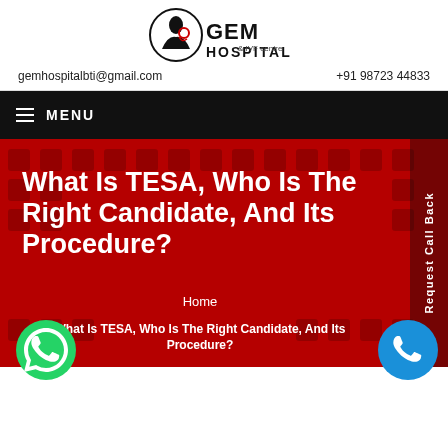[Figure (logo): GEM Hospital & IVF Centre logo with mother and baby icon]
gemhospitalbti@gmail.com    +91 98723 44833
≡ MENU
What Is TESA, Who Is The Right Candidate, And Its Procedure?
Home
What Is TESA, Who Is The Right Candidate, And Its Procedure?
Request Call Back